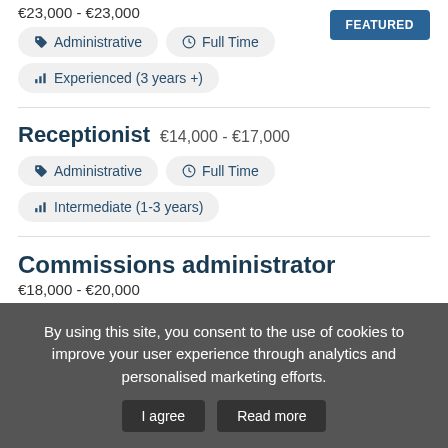€23,000 - €23,000
FEATURED
Administrative
Full Time
Experienced (3 years +)
Receptionist
€14,000 - €17,000
Administrative
Full Time
Intermediate (1-3 years)
Commissions administrator
€18,000 - €20,000
By using this site, you consent to the use of cookies to improve your user experience through analytics and personalised marketing efforts.